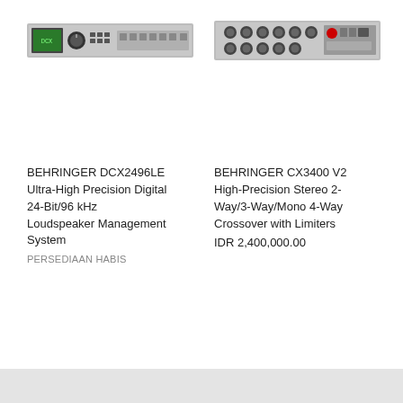[Figure (photo): Front panel photo of BEHRINGER DCX2496LE rack unit, silver/black, showing display and controls]
[Figure (photo): Front panel photo of BEHRINGER CX3400 V2 rack unit, silver/black, showing multiple knobs and inputs]
BEHRINGER DCX2496LE Ultra-High Precision Digital 24-Bit/96 kHz Loudspeaker Management System
PERSEDIAAN HABIS
BEHRINGER CX3400 V2 High-Precision Stereo 2-Way/3-Way/Mono 4-Way Crossover with Limiters
IDR 2,400,000.00